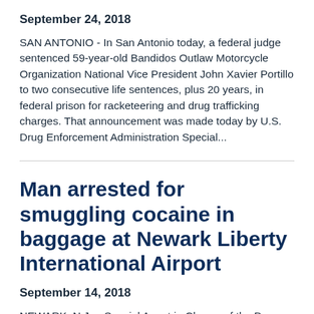September 24, 2018
SAN ANTONIO - In San Antonio today, a federal judge sentenced 59-year-old Bandidos Outlaw Motorcycle Organization National Vice President John Xavier Portillo to two consecutive life sentences, plus 20 years, in federal prison for racketeering and drug trafficking charges. That announcement was made today by U.S. Drug Enforcement Administration Special...
Man arrested for smuggling cocaine in baggage at Newark Liberty International Airport
September 14, 2018
NEWARK, N.J. – Special Agent in Charge of the Drug